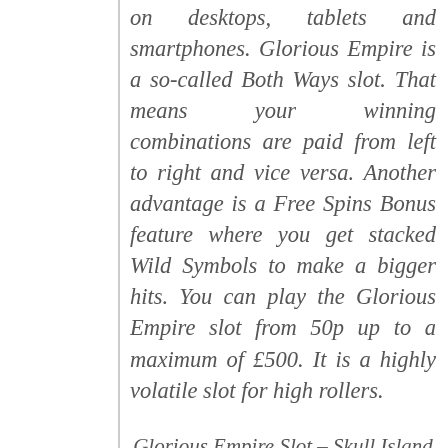on desktops, tablets and smartphones. Glorious Empire is a so-called Both Ways slot. That means your winning combinations are paid from left to right and vice versa. Another advantage is a Free Spins Bonus feature where you get stacked Wild Symbols to make a bigger hits. You can play the Glorious Empire slot from 50p up to a maximum of £500. It is a highly volatile slot for high rollers.
Glorious Empire Slot – Skull Island Free Games